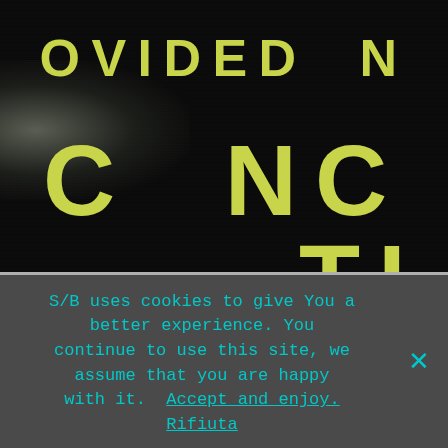[Figure (illustration): Dark textured background with large yellow-green letters partially visible spelling 'OVIDED N' on the first line and 'C NC TI' on the second line, with a bright glow/light effect on the left side.]
S/B uses cookies to give You a better experience. You continue to use this site, we assume that you are happy with it.  Accept and enjoy. Rifiuta